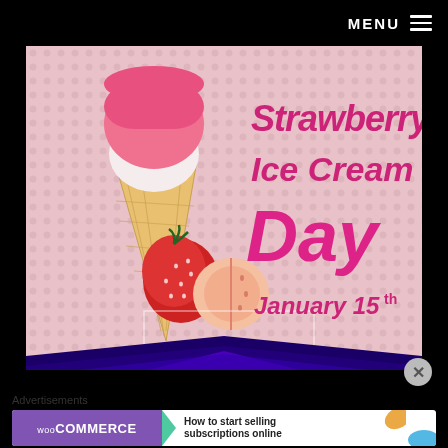MENU
[Figure (illustration): Strawberry Ice Cream Day promotional illustration with pink dotted background, an ice cream cone with pink and white scoops, two strawberries (one whole, one sliced), and text reading 'Strawberry Ice Cream Day January 15th' in pink bold font on the right side. A purple chevron/arrow shape at the bottom.]
Advertisements
[Figure (other): WooCommerce advertisement banner: purple background on left with WooCommerce logo and a teal play-button arrow, right side white with text 'How to start selling subscriptions online', orange and blue decorative shapes on the right.]